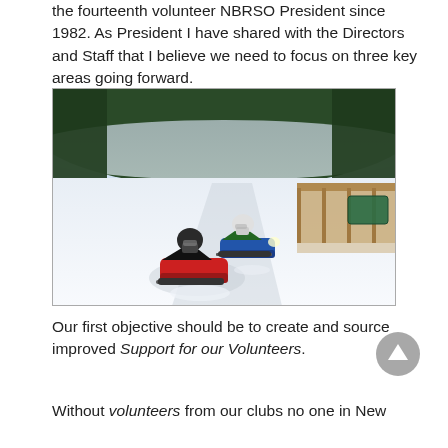the fourteenth volunteer NBRSO President since 1982. As President I have shared with the Directors and Staff that I believe we need to focus on three key areas going forward.
[Figure (photo): Two snowmobilers riding on a snowy trail through a forested area, approaching a bridge. The lead rider is on a red snowmobile, the second rider is on a blue and green snowmobile. Snow-covered trees and hillside in background.]
Our first objective should be to create and source improved Support for our Volunteers.
Without volunteers from our clubs no one in New